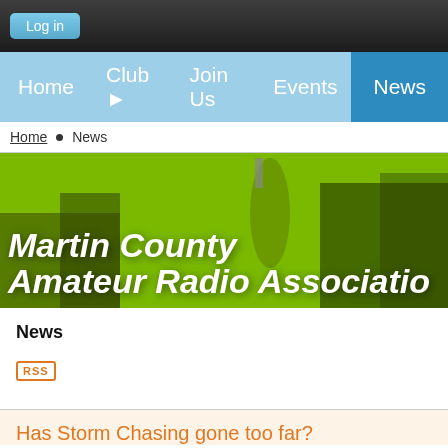Log in
Home | Club | Join Us | Events | News
Home • News
[Figure (illustration): Martin County Amateur Radio Association banner with green overlay showing radio equipment and handheld radios]
News
RSS
Has Storm Chasing gone too far?